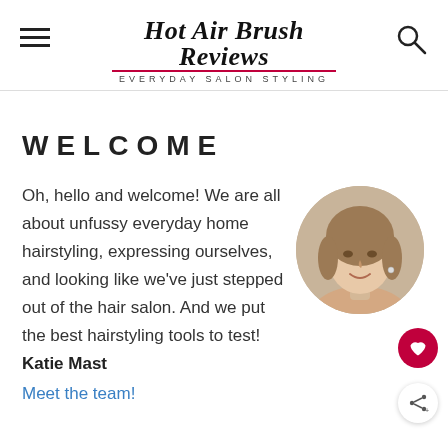Hot Air Brush Reviews — EVERYDAY SALON STYLING
WELCOME
Oh, hello and welcome! We are all about unfussy everyday home hairstyling, expressing ourselves, and looking like we've just stepped out of the hair salon. And we put the best hairstyling tools to test! Katie Mast
[Figure (photo): Circular portrait photo of a woman with styled blonde/brown hair, smiling, wearing earrings]
Meet the team!